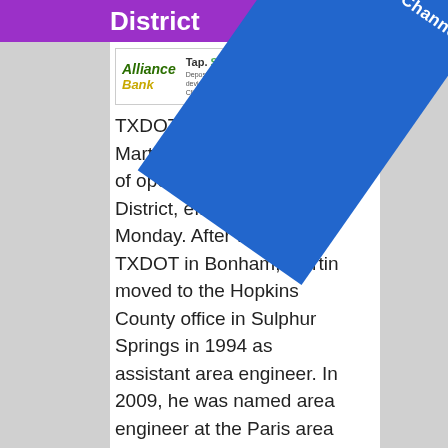District
[Figure (other): Alliance Bank advertisement: Tap. Snap. Deposit. with mobile phone image]
TXDOT has named Brad Martin as its' new director of operations for the Paris District, effective last Monday. After working for TXDOT in Bonham, Martin moved to the Hopkins County office in Sulphur Springs in 1994 as assistant area engineer. In 2009, he was named area engineer at the Paris area office. He's been director of construction for the entire Paris district since 2012.